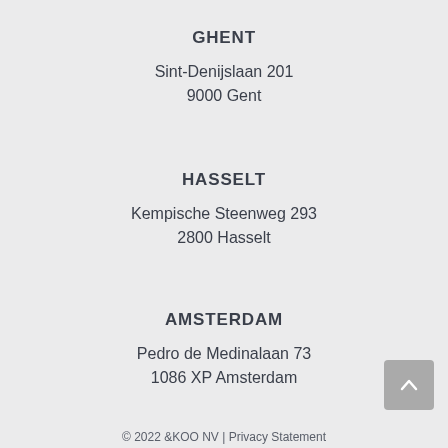GHENT
Sint-Denijslaan 201
9000 Gent
HASSELT
Kempische Steenweg 293
2800 Hasselt
AMSTERDAM
Pedro de Medinalaan 73
1086 XP Amsterdam
© 2022 &KOO NV | Privacy Statement